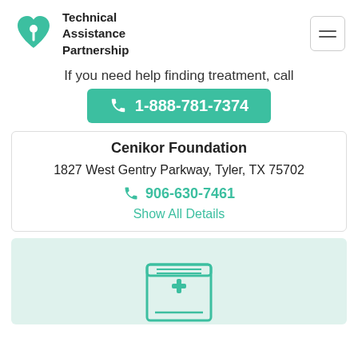Technical Assistance Partnership
If you need help finding treatment, call
1-888-781-7374
Cenikor Foundation
1827 West Gentry Parkway, Tyler, TX 75702
906-630-7461
Show All Details
[Figure (illustration): Medical/pharmacy icon on light green card background, partially visible at bottom of page]